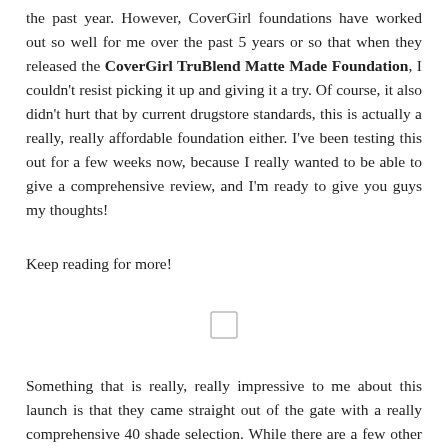the past year. However, CoverGirl foundations have worked out so well for me over the past 5 years or so that when they released the CoverGirl TruBlend Matte Made Foundation, I couldn't resist picking it up and giving it a try. Of course, it also didn't hurt that by current drugstore standards, this is actually a really, really affordable foundation either. I've been testing this out for a few weeks now, because I really wanted to be able to give a comprehensive review, and I'm ready to give you guys my thoughts!
Keep reading for more!
[Figure (other): Small placeholder image icon (empty/loading image box)]
Something that is really, really impressive to me about this launch is that they came straight out of the gate with a really comprehensive 40 shade selection. While there are a few other foundations that do have a shade selection this wide, none of them launched with that many shades. Because a launch that huge is not an easy feat I have to say I'm really, really impressed that CoverGirl listened to the calls for more diverse representation in the beauty space and went for it. I